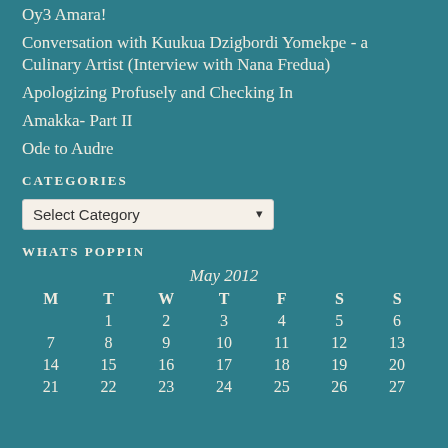Oy3 Amara!
Conversation with Kuukua Dzigbordi Yomekpe - a Culinary Artist (Interview with Nana Fredua)
Apologizing Profusely and Checking In
Amakka- Part II
Ode to Audre
CATEGORIES
Select Category
WHATS POPPIN
| M | T | W | T | F | S | S |
| --- | --- | --- | --- | --- | --- | --- |
|  | 1 | 2 | 3 | 4 | 5 | 6 |
| 7 | 8 | 9 | 10 | 11 | 12 | 13 |
| 14 | 15 | 16 | 17 | 18 | 19 | 20 |
| 21 | 22 | 23 | 24 | 25 | 26 | 27 |